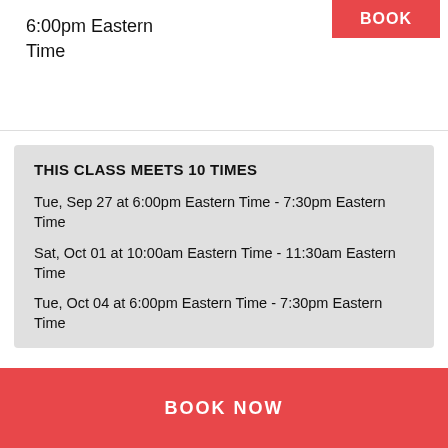6:00pm Eastern Time
THIS CLASS MEETS 10 TIMES
Tue, Sep 27 at 6:00pm Eastern Time - 7:30pm Eastern Time
Sat, Oct 01 at 10:00am Eastern Time - 11:30am Eastern Time
Tue, Oct 04 at 6:00pm Eastern Time - 7:30pm Eastern Time
Sat, Oct 08 at 10:00am Eastern Time - 11:30am Eastern Time
Tue, Oct 11 at 6:00pm Eastern Time - 7:30pm Eastern Time
Sat, Oct 15 at 10:00am Eastern Time - 11:30am Eastern Time
BOOK NOW